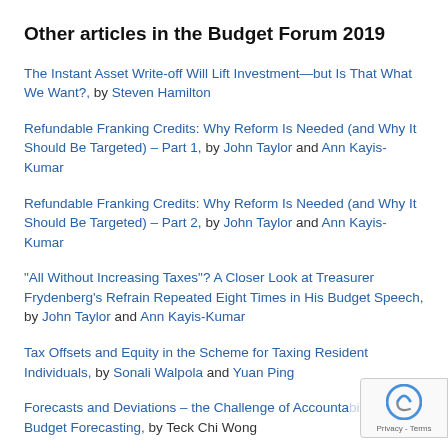Other articles in the Budget Forum 2019
The Instant Asset Write-off Will Lift Investment—but Is That What We Want?, by Steven Hamilton
Refundable Franking Credits: Why Reform Is Needed (and Why It Should Be Targeted) – Part 1, by John Taylor and Ann Kayis-Kumar
Refundable Franking Credits: Why Reform Is Needed (and Why It Should Be Targeted) – Part 2, by John Taylor and Ann Kayis-Kumar
“All Without Increasing Taxes”? A Closer Look at Treasurer Frydenberg’s Refrain Repeated Eight Times in His Budget Speech, by John Taylor and Ann Kayis-Kumar
Tax Offsets and Equity in the Scheme for Taxing Resident Individuals, by Sonali Walpola and Yuan Ping
Forecasts and Deviations – the Challenge of Accountability in Budget Forecasting, by Teck Chi Wong